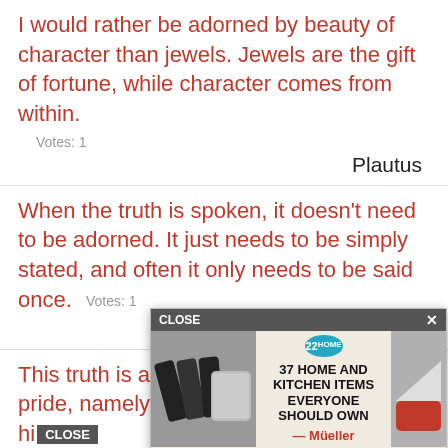I would rather be adorned by beauty of character than jewels. Jewels are the gift of fortune, while character comes from within.
Votes: 1
Plautus
When the truth is spoken, it doesn't need to be adorned. It just needs to be simply stated, and often it only needs to be said once.  Votes: 1
James Nachtwey
This truth is a remedy against spiritual pride, namely, that none should account hi[CLOSE] better [...] haps adorn [...] nts.
Votes:
[Figure (other): Advertisement overlay: '37 HOME AND KITCHEN ITEMS EVERYONE SHOULD OWN' with Mueller brand logo and kitchen knife sharpener image. Has CLOSE button at top.]